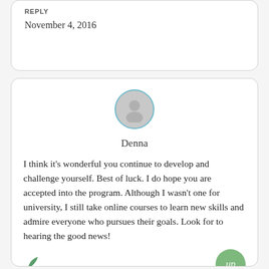REPLY
November 4, 2016
[Figure (illustration): User avatar: grey silhouette person icon inside circular border with teal/blue outline]
Denna
I think it’s wonderful you continue to develop and challenge yourself. Best of luck. I do hope you are accepted into the program. Although I wasn’t one for university, I still take online courses to learn new skills and admire everyone who pursues their goals. Look for to hearing the good news!
[Figure (illustration): Small green leaf/sprout icon]
[Figure (illustration): Green circular 'up' button]
REPLY